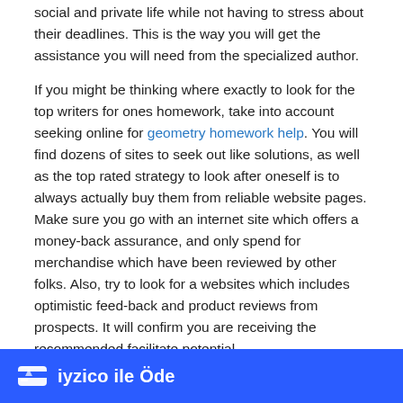social and private life while not having to stress about their deadlines. This is the way you will get the assistance you will need from the specialized author.
If you might be thinking where exactly to look for the top writers for ones homework, take into account seeking online for geometry homework help. You will find dozens of sites to seek out like solutions, as well as the top rated strategy to look after oneself is to always actually buy them from reliable website pages. Make sure you go with an internet site which offers a money-back assurance, and only spend for merchandise which have been reviewed by other folks. Also, try to look for a websites which includes optimistic feed-back and product reviews from prospects. It will confirm you are receiving the recommended facilitate potential.
When it relates to seeking out the most beneficial homework writing service, make sure you prefer a firm that may be veteran in numerous issue aspects. Many of these service providers have specialised writers especially training course topics, and some others tend to be more generalists. One can chat for the author just to get questions and know you are like... You'll also chat wi... ...ing to fulfill
[Figure (other): Blue payment banner at the bottom of the page showing 'iyzico ile Öde' (Pay with iyzico) with a white card/payment icon on the left.]